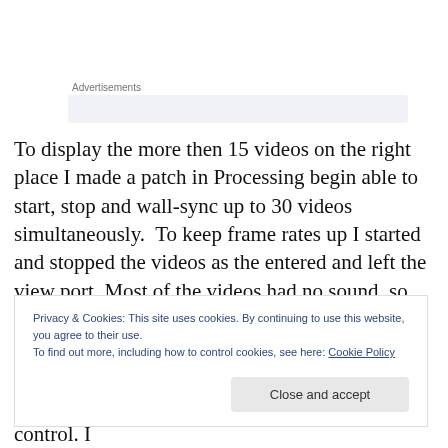Advertisements
To display the more then 15 videos on the right place I made a patch in Processing begin able to start, stop and wall-sync up to 30 videos simultaneously.  To keep frame rates up I started and stopped the videos as the entered and left the view port. Most of the videos had no sound, so suiting clips where played from Reason controlled from the
Privacy & Cookies: This site uses cookies. By continuing to use this website, you agree to their use.
To find out more, including how to control cookies, see here: Cookie Policy
trolley also got far to heavy and was hard to control. I